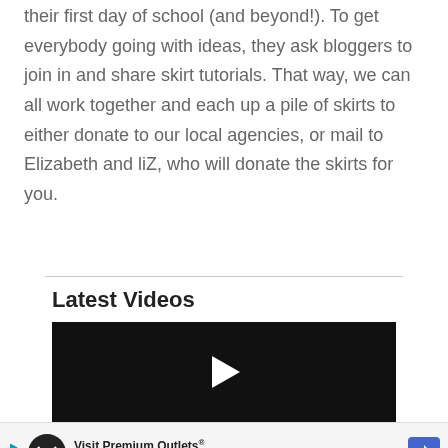their first day of school (and beyond!). To get everybody going with ideas, they ask bloggers to join in and share skirt tutorials. That way, we can all work together and each up a pile of skirts to either donate to our local agencies, or mail to Elizabeth and liZ, who will donate the skirts for you.
Latest Videos
[Figure (other): Video player thumbnail showing a dark/black background with a white play button arrow in the center]
[Figure (other): Advertisement banner: Visit Premium Outlets® Leesburg Premium Outlets with logo and navigation arrow icon]